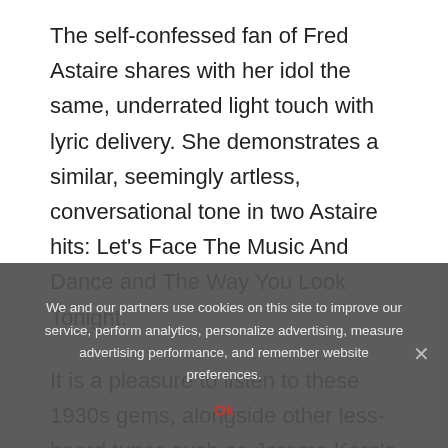The self-confessed fan of Fred Astaire shares with her idol the same, underrated light touch with lyric delivery. She demonstrates a similar, seemingly artless, conversational tone in two Astaire hits: Let's Face The Music And Dance and The Way You Look Tonight.
It is a pleasure to listen to these 1930s gems, alongside other less-heard tunes such as Jerome Kern's Long Ago And Far Away and Cole Porter's From This Moment On, especially when Callaway sings them
We and our partners use cookies on this site to improve our service, perform analytics, personalize advertising, measure advertising performance, and remember website preferences.
Ok